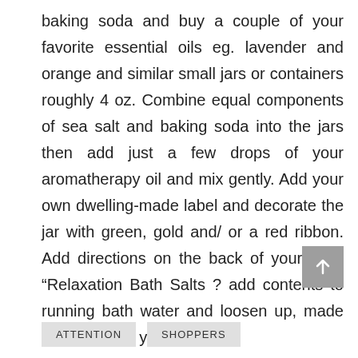baking soda and buy a couple of your favorite essential oils eg. lavender and orange and similar small jars or containers roughly 4 oz. Combine equal components of sea salt and baking soda into the jars then add just a few drops of your aromatherapy oil and mix gently. Add your own dwelling-made label and decorate the jar with green, gold and/ or a red ribbon. Add directions on the back of your label “Relaxation Bath Salts ? add contents to running bath water and loosen up, made especially for you by ?..”
ATTENTION
SHOPPERS